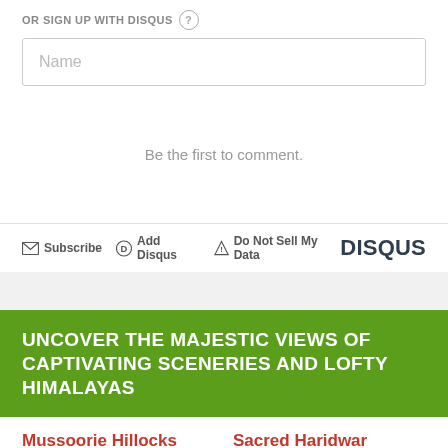OR SIGN UP WITH DISQUS ?
Name
Be the first to comment.
Subscribe  Add Disqus  Do Not Sell My Data  DISQUS
UNCOVER THE MAJESTIC VIEWS OF CAPTIVATING SCENERIES AND LOFTY HIMALAYAS
Mussoorie Hillocks
Sacred Haridwar